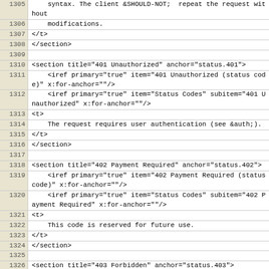Code listing showing XML source lines 1305-1329 with line numbers, including sections for HTTP status codes 401, 402, and 403.